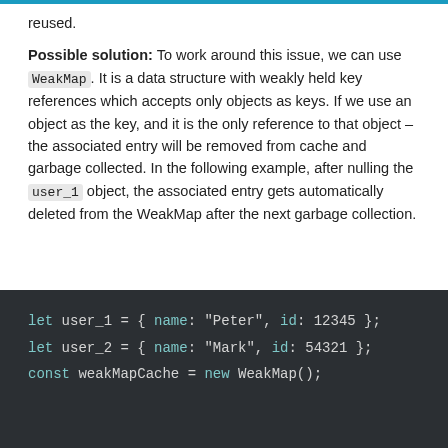reused.
Possible solution: To work around this issue, we can use WeakMap. It is a data structure with weakly held key references which accepts only objects as keys. If we use an object as the key, and it is the only reference to that object – the associated entry will be removed from cache and garbage collected. In the following example, after nulling the user_1 object, the associated entry gets automatically deleted from the WeakMap after the next garbage collection.
[Figure (screenshot): Dark-themed code block showing JavaScript: let user_1 = { name: "Peter", id: 12345 }; let user_2 = { name: "Mark", id: 54321 }; const weakMapCache = new WeakMap();]